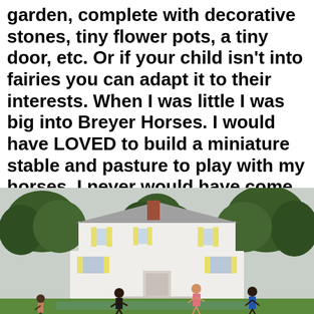garden, complete with decorative stones, tiny flower pots, a tiny door, etc. Or if your child isn't into fairies you can adapt it to their interests. When I was little I was big into Breyer Horses. I would have LOVED to build a miniature stable and pasture to play with my horses. I never would have come inside!
[Figure (photo): Children playing in the yard of a large white two-story house with yellow shutters, surrounded by green trees on an overcast day.]